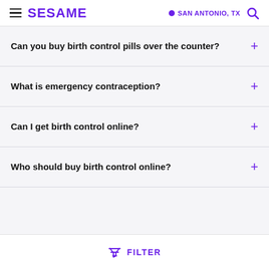SESAME — SAN ANTONIO, TX
Can you buy birth control pills over the counter?
What is emergency contraception?
Can I get birth control online?
Who should buy birth control online?
FILTER